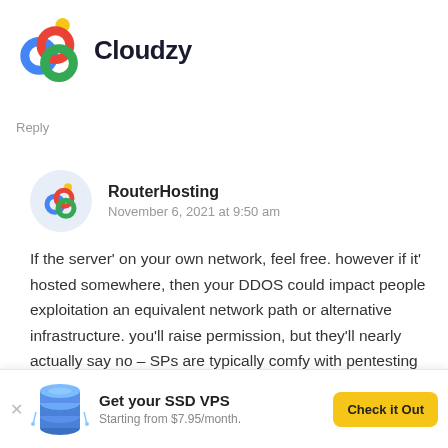[Figure (logo): Cloudzy logo with colorful interlocking circles (blue, red, green) and yellow dot, with Cloudzy text in dark navy]
Reply
[Figure (logo): RouterHosting avatar - small Cloudzy-style logo on light blue background]
RouterHosting
November 6, 2021 at 9:50 am
If the server' on your own network, feel free. however if it' hosted somewhere, then your DDOS could impact people exploitation an equivalent network path or alternative infrastructure. you'll raise permission, but they'll nearly actually say no – SPs are typically comfy with pentesting but no one fools around
[Figure (illustration): Blue 3D server/database stack illustration for SSD VPS ad]
Get your SSD VPS
Starting from $7.95/month.
Check it Out